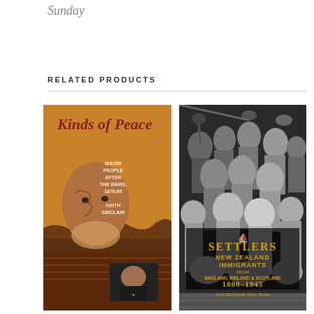Sunday
RELATED PRODUCTS
[Figure (photo): Book cover: 'Kinds of Peace — Maori People After the Wars, 1870-85' by Keith Sinclair. Orange/amber background with a painted portrait of a Maori elder with facial tattoos and beard. Small inset portrait of another person.]
[Figure (photo): Book cover: 'Settlers — New Zealand Immigrants from England, Ireland & Scotland 1800-1945' by Jock Phillips & Terry Hearn. Black and white photograph of a large group of men celebrating on a ship deck.]